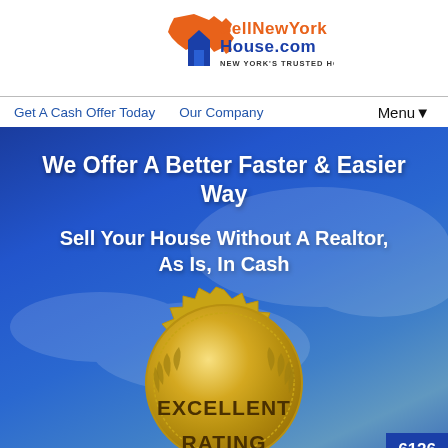[Figure (logo): SellNewYorkHouse.com logo with orange NY state shape, blue house icon, orange brand name and tagline 'NEW YORK'S TRUSTED HOME BUYER']
Get A Cash Offer Today   Our Company   Menu▼
We Offer A Better Faster & Easier Way
Sell Your House Without A Realtor, As Is, In Cash
[Figure (illustration): Gold seal/badge with laurel wreath design. Text reads EXCELLENT RATING. Partially cut off at bottom. Number 6126 visible in bottom right corner.]